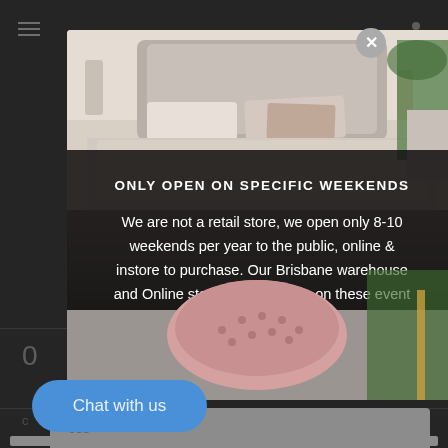[Figure (screenshot): Mobile website screenshot with a modal popup overlay. The modal shows a bedroom with pink ottoman photo. A dark semi-transparent box overlaps the photo with text about store opening hours. A blue chat button is visible at the bottom left.]
ONLY OPEN ON SPECIFIC WEEKENDS
We are not a retail store, we open only 8-10 weekends per year to the public, online & instore to purchase. Our Brisbane warehouse and Online store will only open on these event weekends
Chat with us